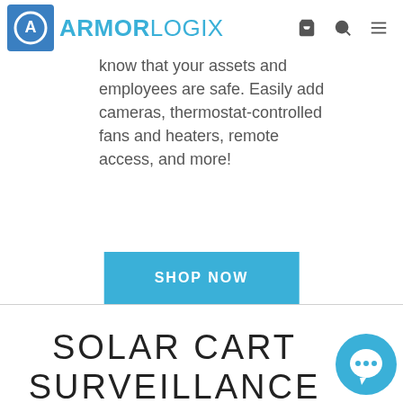ARMORLOGIX
know that your assets and employees are safe. Easily add cameras, thermostat-controlled fans and heaters, remote access, and more!
SHOP NOW
SOLAR CART SURVEILLANCE PACKAGES